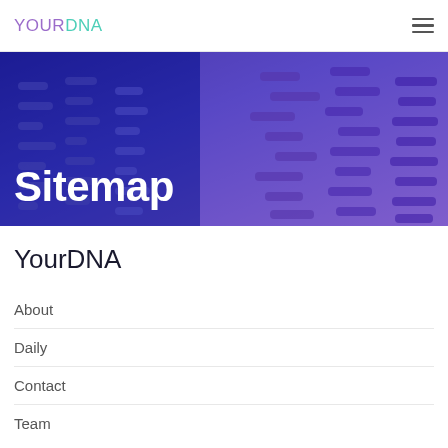YOURDNA
Sitemap
YourDNA
About
Daily
Contact
Team